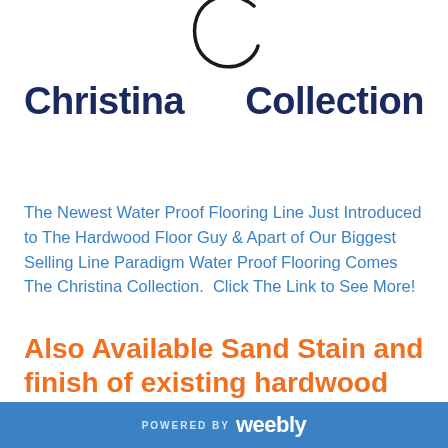[Figure (logo): Christina Collection logo with large stylized italic C letter above the brand name text]
The Newest Water Proof Flooring Line Just Introduced to The Hardwood Floor Guy & Apart of Our Biggest Selling Line Paradigm Water Proof Flooring Comes The Christina Collection.  Click The Link to See More!
Also Available Sand Stain and finish of existing hardwood floors
POWERED BY weebly